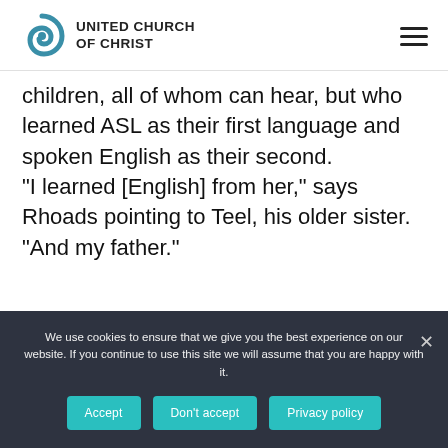UNITED CHURCH OF CHRIST
children, all of whom can hear, but who learned ASL as their first language and spoken English as their second.
“I learned [English] from her,” says Rhoads pointing to Teel, his older sister. “And my father.”
We use cookies to ensure that we give you the best experience on our website. If you continue to use this site we will assume that you are happy with it.